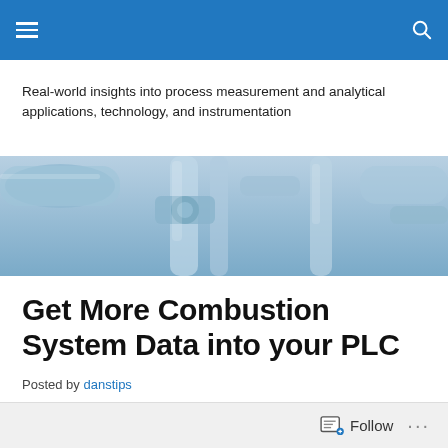Navigation bar with menu and search icons
Real-world insights into process measurement and analytical applications, technology, and instrumentation
[Figure (photo): Industrial piping and instrumentation equipment photographed in blue-toned industrial setting]
Get More Combustion System Data into your PLC
Posted by danstips
Follow ...